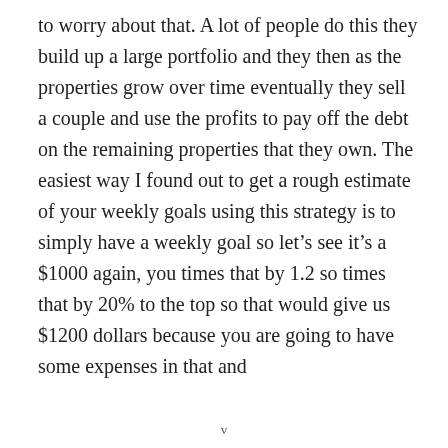to worry about that. A lot of people do this they build up a large portfolio and they then as the properties grow over time eventually they sell a couple and use the profits to pay off the debt on the remaining properties that they own. The easiest way I found out to get a rough estimate of your weekly goals using this strategy is to simply have a weekly goal so let's see it's a $1000 again, you times that by 1.2 so times that by 20% to the top so that would give us $1200 dollars because you are going to have some expenses in that and
v